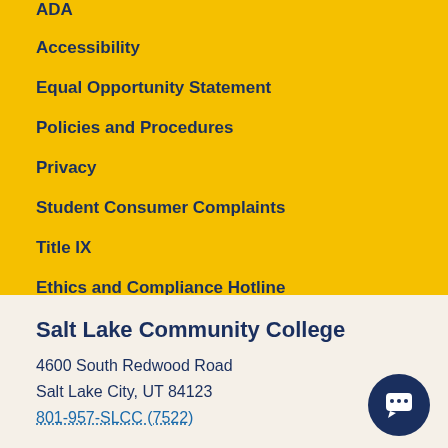ADA
Accessibility
Equal Opportunity Statement
Policies and Procedures
Privacy
Student Consumer Complaints
Title IX
Ethics and Compliance Hotline
Salt Lake Community College
4600 South Redwood Road
Salt Lake City, UT 84123
801-957-SLCC (7522)